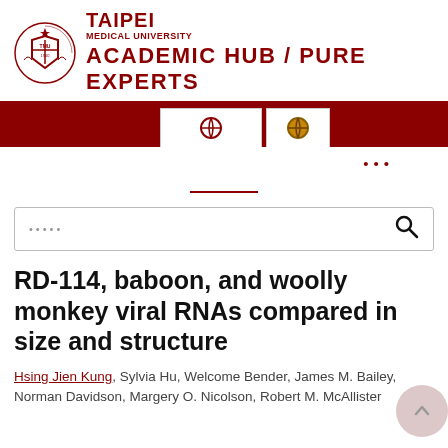[Figure (logo): Taipei Medical University shield logo with Academic Hub / Pure Experts header]
[Figure (screenshot): Dark red navigation bar with two white tab buttons containing globe/help icons]
[Figure (screenshot): Navigation dots (...) and dark red underline bar UI element]
[Figure (screenshot): Search bar with placeholder dots and search icon]
RD-114, baboon, and woolly monkey viral RNAs compared in size and structure
Hsing Jien Kung, Sylvia Hu, Welcome Bender, James M. Bailey, Norman Davidson, Margery O. Nicolson, Robert M. McAllister